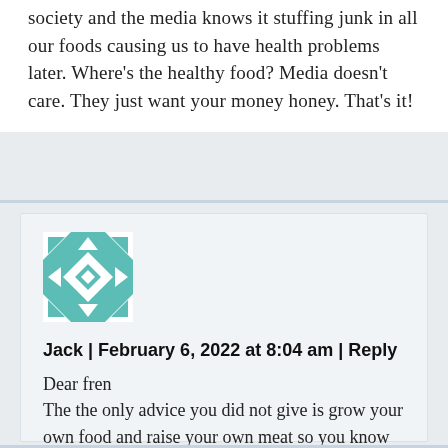society and the media knows it stuffing junk in all our foods causing us to have health problems later. Where's the healthy food? Media doesn't care. They just want your money honey. That's it!
[Figure (illustration): Teal and white geometric quilt-pattern avatar icon]
Jack | February 6, 2022 at 8:04 am | Reply
Dear fren
The the only advice you did not give is grow your own food and raise your own meat so you know how it was processed .